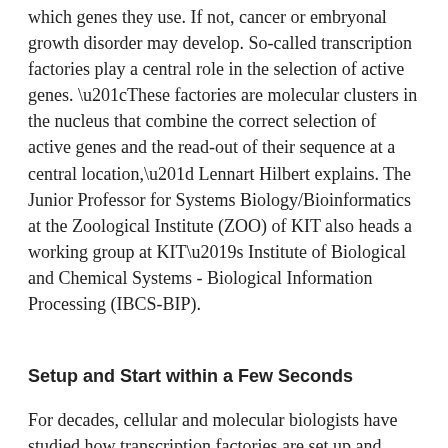which genes they use. If not, cancer or embryonal growth disorder may develop. So-called transcription factories play a central role in the selection of active genes. “These factories are molecular clusters in the nucleus that combine the correct selection of active genes and the read-out of their sequence at a central location,” Lennart Hilbert explains. The Junior Professor for Systems Biology/Bioinformatics at the Zoological Institute (ZOO) of KIT also heads a working group at KIT’s Institute of Biological and Chemical Systems - Biological Information Processing (IBCS-BIP).
Setup and Start within a Few Seconds
For decades, cellular and molecular biologists have studied how transcription factories are set up and taken into operation within a few seconds. Results obtained so far suggest relevance of processes known from industrial and technical polymer and liquid materials only. Current research focuses on phase separation as a central mechanism. In everyday life, phase separation can be